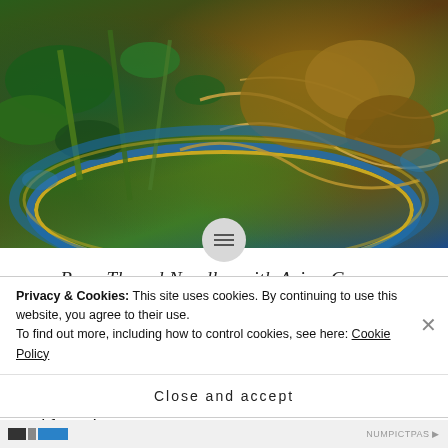[Figure (photo): A blue and white decorative plate containing bean thread noodles stir-fried with dark leafy Asian greens and garlic, viewed from above on a table.]
Bean Thread Noodles with Asian Greens
With the nonstop rain putting the damper on other farm chores today, I decided to develop some recipes using this week's CSA share veggies. This simple stir fry of asian greens and garlic is not only super easy and fast, but tastes
Privacy & Cookies: This site uses cookies. By continuing to use this website, you agree to their use.
To find out more, including how to control cookies, see here: Cookie Policy
Close and accept